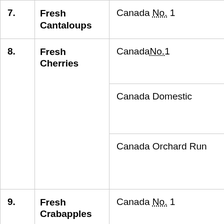| # | Product | Grade |
| --- | --- | --- |
| 7. | Fresh Cantaloups | Canada No. 1 |
| 8. | Fresh Cherries | Canada No. 1 / Canada Domestic / Canada Orchard Run |
| 9. | Fresh Crabapples | Canada No. 1 / Canada Domestic |
| 10. | Fresh Cranberries | Canada No. 1 |